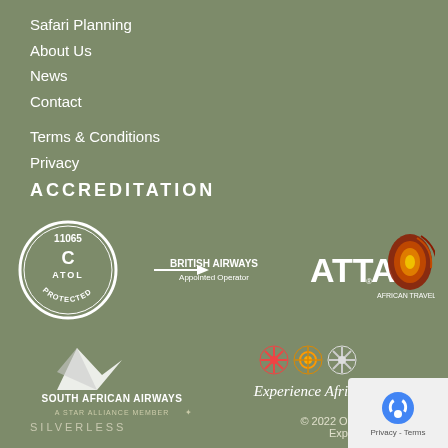Safari Planning
About Us
News
Contact
Terms & Conditions
Privacy
ACCREDITATION
[Figure (logo): ATOL Protected 11065 circular badge logo]
[Figure (logo): British Airways Appointed Operator logo with arrow]
[Figure (logo): ATTA African Travel & Tourism Association logo with Africa map]
[Figure (logo): South African Airways - A Star Alliance Member logo]
[Figure (logo): Experience Africa logo with decorative flower icons]
SILVERLESS
© 2022 Okavango Delta Explorations